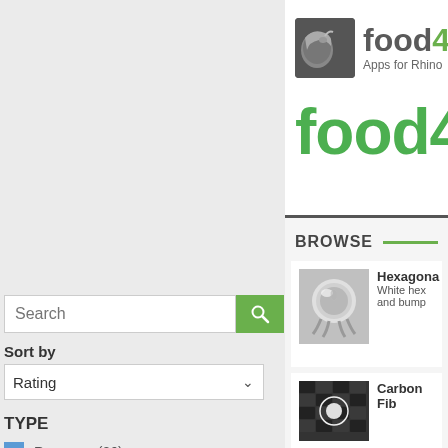[Figure (logo): food4Rhino logo with rhino icon and text 'food4' and 'Apps for Rhino']
food4Rh
BROWSE
Search
Sort by
Rating
TYPE
Resource (26)
App (0)
Services (0)
[Figure (photo): Hexagonal material preview showing metallic sphere with hex pattern]
Hexagona White hex and bump
[Figure (photo): Carbon fiber material preview showing black and white pattern]
Carbon Fib